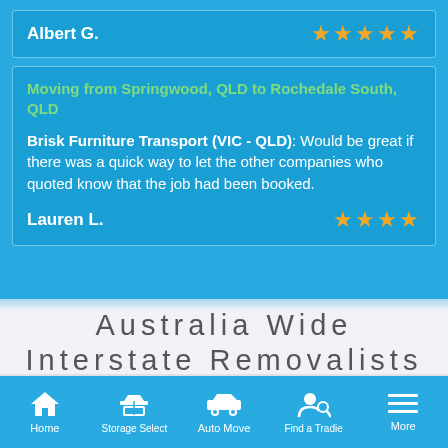Albert G.
★★★★★
Moving from Springwood, QLD to Rochedale South, QLD
Brisk Furniture Transport (VIC - QLD): Would be great if there was a quick way to let the other companies who quoted know that the job had been booked.
Lauren L.
★★★★
Australia Wide Interstate Removalists
Find a mover - TAS
Home | Storage Select | Auto Move | Find a Tradie | More